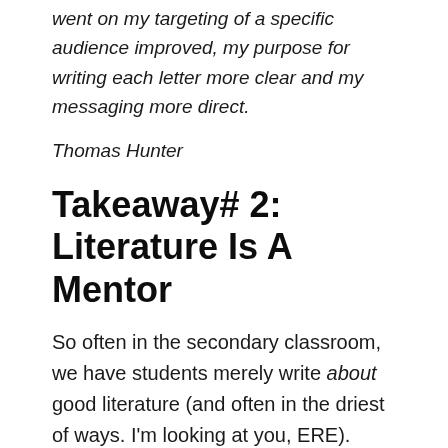went on my targeting of a specific audience improved, my purpose for writing each letter more clear and my messaging more direct.
Thomas Hunter
Takeaway# 2: Literature Is A Mentor
So often in the secondary classroom, we have students merely write about good literature (and often in the driest of ways. I'm looking at you, ERE). Teaching this module